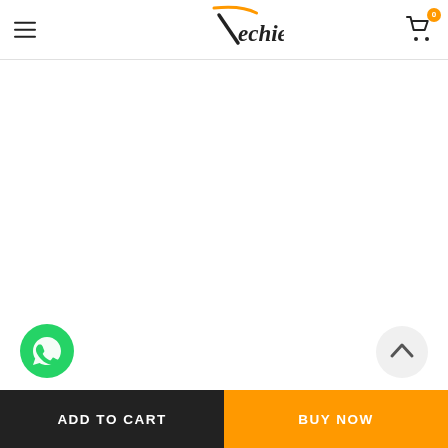Techie — navigation header with hamburger menu, logo, and cart icon with badge 0
[Figure (screenshot): Blank white product content area (product image area, no visible product loaded)]
[Figure (illustration): WhatsApp floating action button (green circle with WhatsApp phone icon)]
[Figure (illustration): Back-to-top floating button (light grey circle with upward chevron)]
ADD TO CART | BUY NOW